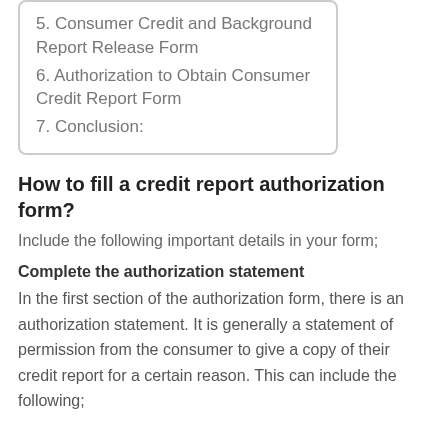5. Consumer Credit and Background Report Release Form
6. Authorization to Obtain Consumer Credit Report Form
7. Conclusion:
How to fill a credit report authorization form?
Include the following important details in your form;
Complete the authorization statement
In the first section of the authorization form, there is an authorization statement. It is generally a statement of permission from the consumer to give a copy of their credit report for a certain reason. This can include the following;